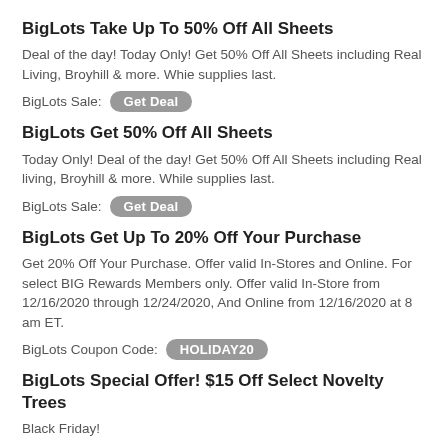BigLots Take Up To 50% Off All Sheets
Deal of the day! Today Only! Get 50% Off All Sheets including Real Living, Broyhill & more. Whie supplies last.
BigLots Sale:  Get Deal
BigLots Get 50% Off All Sheets
Today Only! Deal of the day! Get 50% Off All Sheets including Real living, Broyhill & more. While supplies last.
BigLots Sale:  Get Deal
BigLots Get Up To 20% Off Your Purchase
Get 20% Off Your Purchase. Offer valid In-Stores and Online. For select BIG Rewards Members only. Offer valid In-Store from 12/16/2020 through 12/24/2020, And Online from 12/16/2020 at 8 am ET.
BigLots Coupon Code:  HOLIDAY20
BigLots Special Offer! $15 Off Select Novelty Trees
Black Friday!